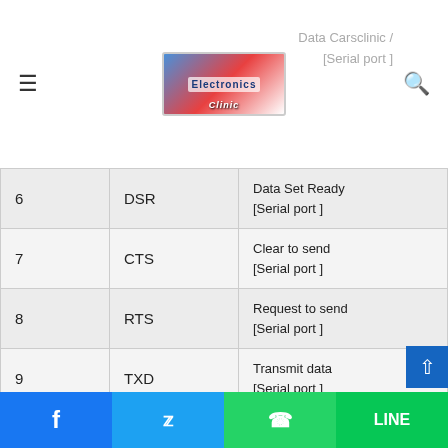Electronics Clinic — Data Carsclinic / Serial port
| # | Pin | Description |
| --- | --- | --- |
| 6 | DSR | Data Set Ready
[Serial port ] |
| 7 | CTS | Clear to send
[Serial port ] |
| 8 | RTS | Request to send
[Serial port ] |
| 9 | TXD | Transmit data
[Serial port ] |
| 10 | RXD | Receive data
[Serial port ] |